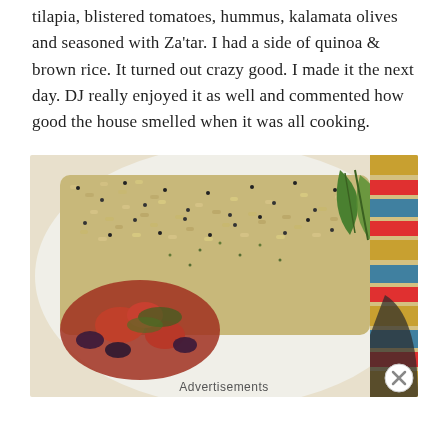tilapia, blistered tomatoes, hummus, kalamata olives and seasoned with Za'tar. I had a side of quinoa & brown rice. It turned out crazy good. I made it the next day. DJ really enjoyed it as well and commented how good the house smelled when it was all cooking.
[Figure (photo): Close-up photo of a plate of quinoa and brown rice mixed with blistered tomatoes, kalamata olives, and herbs seasoned with Za'tar, on a white plate with green leaf pattern, with a colorful patterned textile/mat visible in the background right.]
Advertisements